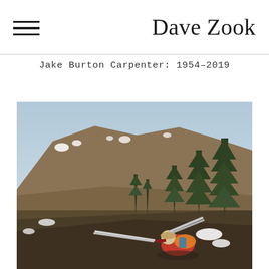Dave Zook
Jake Burton Carpenter: 1954–2019
[Figure (photo): Person carrying skis on their back hiking up a dry mountain slope with patches of snow, tall evergreen trees on the right, and a large brown mountain in the background under an overcast sky.]